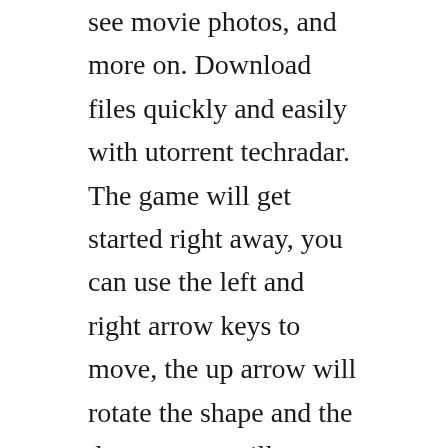see movie photos, and more on. Download files quickly and easily with utorrent techradar. The game will get started right away, you can use the left and right arrow keys to move, the up arrow will rotate the shape and the down arrow will increase the descending.
Search and download grave encounters 2 2012 torrent or magnet for free on skytorrents 116 results for grave encounters 2 2012 in 0. Grave encounters, film student alex wright is out to prove them wrong. Download all yts yify movies torrents for free in 720p, 1080p,